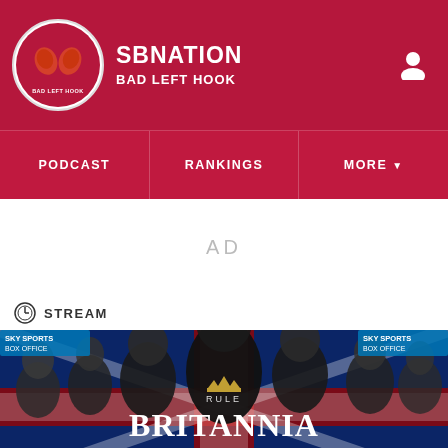SBNATION BAD LEFT HOOK
PODCAST | RANKINGS | MORE
AD
STREAM
[Figure (photo): Promotional fight poster for Kell Brook vs Frankie Gavin IBF Welterweight World Championship, Rule Britannia, Sky Sports Box Office. Multiple fighters shown against Union Jack background.]